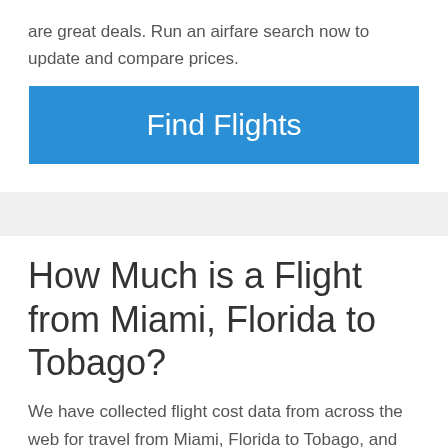are great deals. Run an airfare search now to update and compare prices.
[Figure (other): Blue 'Find Flights' call-to-action button]
How Much is a Flight from Miami, Florida to Tobago?
We have collected flight cost data from across the web for travel from Miami, Florida to Tobago, and have found the average flight price for this trip to be $398.